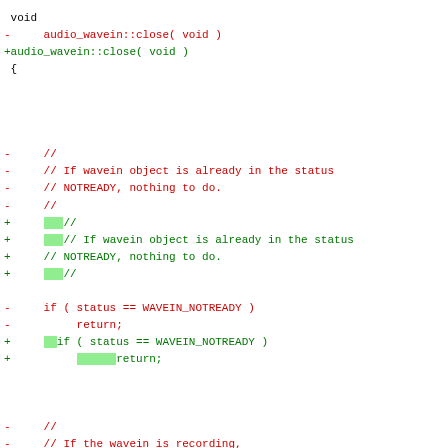[Figure (other): A code diff view showing changes to the audio_wavein::close(void) function. Removed lines (red, prefixed with -) and added lines (green, prefixed with +) with highlighted indentation changes shown as green blocks.]